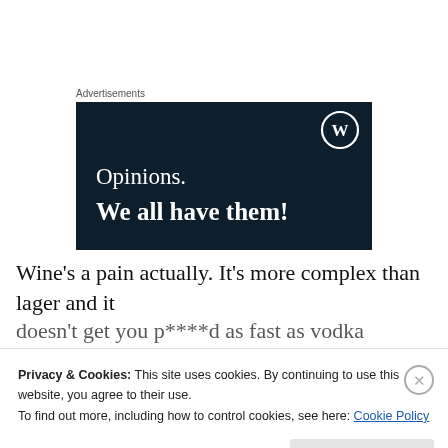Advertisements
[Figure (illustration): Dark navy advertisement banner with WordPress logo in top right corner. Text reads 'Opinions.' on one line and 'We all have them!' in bold on the next line, all in white on dark background.]
Wine's a pain actually. It's more complex than lager and it doesn't get you p****d as fast as vodka — unless it's got
Privacy & Cookies: This site uses cookies. By continuing to use this website, you agree to their use.
To find out more, including how to control cookies, see here: Cookie Policy
Close and accept